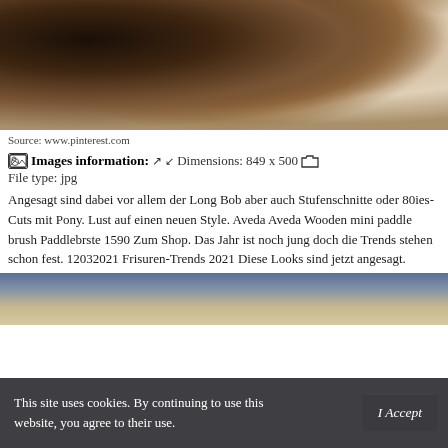[Figure (photo): Top portion of a hair photo showing curly brunette hair against a light background]
Source: www.pinterest.com
Images information: ↗↙ Dimensions: 849 x 500 File type: jpg
Angesagt sind dabei vor allem der Long Bob aber auch Stufenschnitte oder 80ies-Cuts mit Pony. Lust auf einen neuen Style. Aveda Aveda Wooden mini paddle brush Paddlebrste 1590 Zum Shop. Das Jahr ist noch jung doch die Trends stehen schon fest. 12032021 Frisuren-Trends 2021 Diese Looks sind jetzt angesagt.
[Figure (photo): Bottom portion of a hair photo showing blonde hair]
This site uses cookies. By continuing to use this website, you agree to their use. I Accept